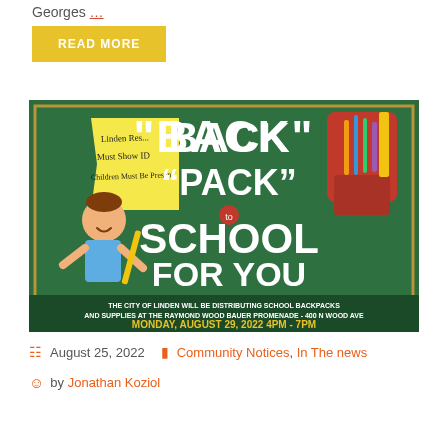Georges …
READ MORE
[Figure (illustration): Back to School event flyer for the City of Linden. Green chalkboard background with text: BACK 'PACK' TO SCHOOL FOR YOU. Yellow sticky note reads: Linden Resident, Must Show ID, Children Must Be Present. Red backpack filled with school supplies on right. Cartoon boy holding a pencil on left. Bottom text: THE CITY OF LINDEN WILL BE DISTRIBUTING SCHOOL BACKPACKS AND SUPPLIES AT THE RAYMOND WOOD BAUER PROMENADE - 400 N WOOD AVE. MONDAY, AUGUST 29, 2022 4PM - 7PM]
August 25, 2022   Community Notices, In The news
by Jonathan Koziol